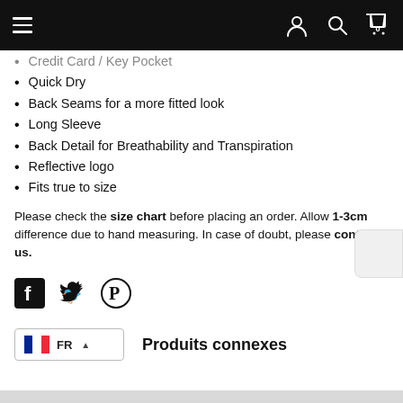Navigation header with menu, user, search, and cart icons
Credit Card / Key Pocket (partial, cut off)
Quick Dry
Back Seams for a more fitted look
Long Sleeve
Back Detail for Breathability and Transpiration
Reflective logo
Fits true to size
Please check the size chart before placing an order. Allow 1-3cm difference due to hand measuring. In case of doubt, please contact us.
[Figure (illustration): Social share icons: Facebook, Twitter, Pinterest]
[Figure (illustration): Language selector showing French flag (FR) with up arrow, and Produits connexes section header]
Produits connexes